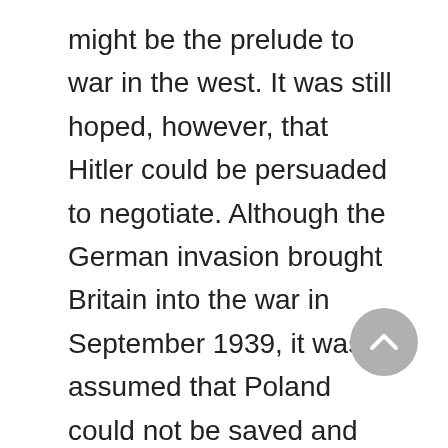might be the prelude to war in the west. It was still hoped, however, that Hitler could be persuaded to negotiate. Although the German invasion brought Britain into the war in September 1939, it was assumed that Poland could not be saved and that its reconstitution was dependent on an allied victory in the west. Churchill tried to mediate between Stalin and the Polish government in exile in London later in the war, but their aims were incompatible, and diplomacy